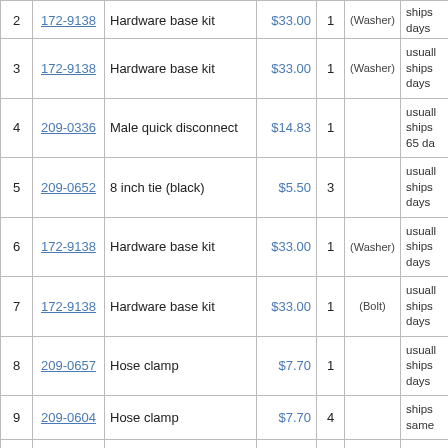| # | Part # | Description | Price | Qty | Note | Availability |
| --- | --- | --- | --- | --- | --- | --- |
| 2 | 172-9138 | Hardware base kit | $33.00 | 1 | (Washer) | ships days |
| 3 | 172-9138 | Hardware base kit | $33.00 | 1 | (Washer) | usually ships days |
| 4 | 209-0336 | Male quick disconnect | $14.83 | 1 |  | usually ships 65 days |
| 5 | 209-0652 | 8 inch tie (black) | $5.50 | 3 |  | usually ships days |
| 6 | 172-9138 | Hardware base kit | $33.00 | 1 | (Washer) | usually ships days |
| 7 | 172-9138 | Hardware base kit | $33.00 | 1 | (Bolt) | usually ships days |
| 8 | 209-0657 | Hose clamp | $7.70 | 1 |  | usually ships days |
| 9 | 209-0604 | Hose clamp | $7.70 | 4 |  | ships same |
| 10 | 209-9495 | Hose clamp | $7.70 | 1 |  | usually ships |